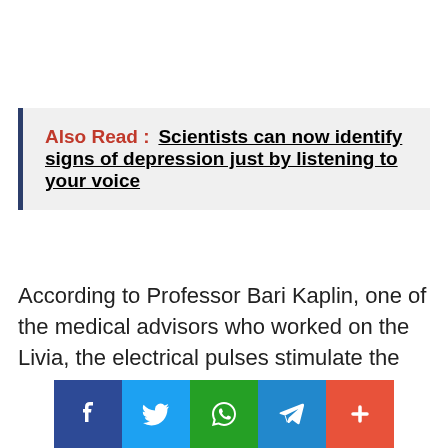Also Read :  Scientists can now identify signs of depression just by listening to your voice
According to Professor Bari Kaplin, one of the medical advisors who worked on the Livia, the electrical pulses stimulate the nerves and make it impossible for pain to pass. This method of pain relief isn't new and is called the "Gate Control Theory." The pulses from the device send a signal to the wearer's nerves